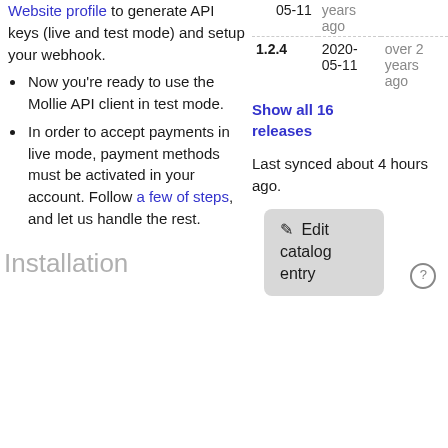Website profile to generate API keys (live and test mode) and setup your webhook.
Now you're ready to use the Mollie API client in test mode.
In order to accept payments in live mode, payment methods must be activated in your account. Follow a few of steps, and let us handle the rest.
Installation
| Version | Date | Age |
| --- | --- | --- |
|  | 05-11 | years ago |
| 1.2.4 | 2020-05-11 | over 2 years ago |
Show all 16 releases
Last synced about 4 hours ago.
Edit catalog entry